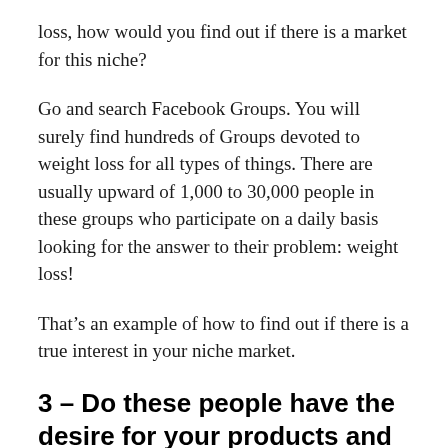loss, how would you find out if there is a market for this niche?
Go and search Facebook Groups. You will surely find hundreds of Groups devoted to weight loss for all types of things. There are usually upward of 1,000 to 30,000 people in these groups who participate on a daily basis looking for the answer to their problem: weight loss!
That’s an example of how to find out if there is a true interest in your niche market.
3 – Do these people have the desire for your products and